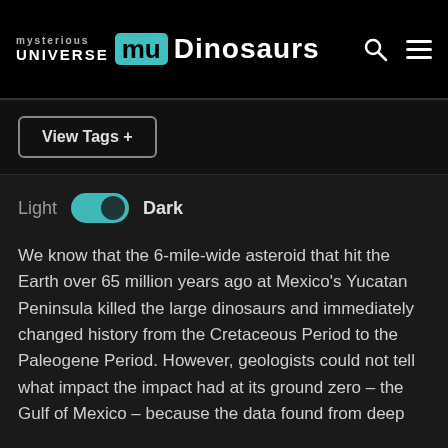mysterious universe | mu | Dinosaurs
View Tags +
Light  Dark
We know that the 6-mile-wide asteroid that hit the Earth over 65 million years ago at Mexico's Yucatan Peninsula killed the large dinosaurs and immediately changed history from the Cretaceous Period to the Paleogene Period. However, geologists could not tell what impact the impact had at its ground zero – the Gulf of Mexico – because the data found from deep